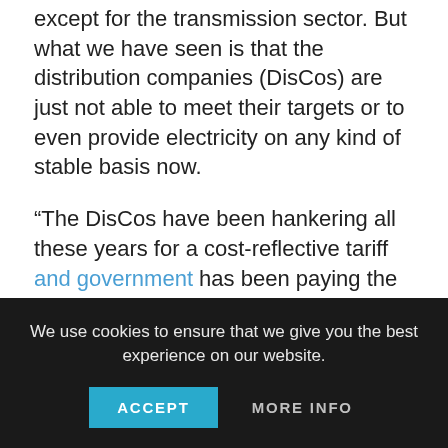except for the transmission sector. But what we have seen is that the distribution companies (DisCos) are just not able to meet their targets or to even provide electricity on any kind of stable basis now.
“The DisCos have been hankering all these years for a cost-reflective tariff and government has been paying the subsidy. In fact, in the past few years, we have spent about N1.3 trillion on subsidies for electricity. Again, here is a situation where that is completely unaffordable.
“We want to ensure that new companies come into the market. So, that will be decentralized completely. This way, in several
We use cookies to ensure that we give you the best experience on our website.
ACCEPT
MORE INFO